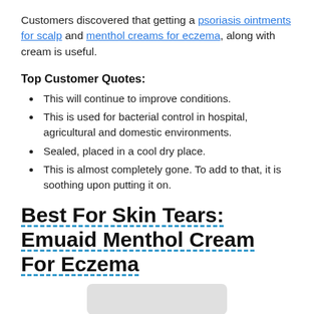Customers discovered that getting a psoriasis ointments for scalp and menthol creams for eczema, along with cream is useful.
Top Customer Quotes:
This will continue to improve conditions.
This is used for bacterial control in hospital, agricultural and domestic environments.
Sealed, placed in a cool dry place.
This is almost completely gone. To add to that, it is soothing upon putting it on.
Best For Skin Tears: Emuaid Menthol Cream For Eczema
[Figure (photo): Product image placeholder at bottom of page]